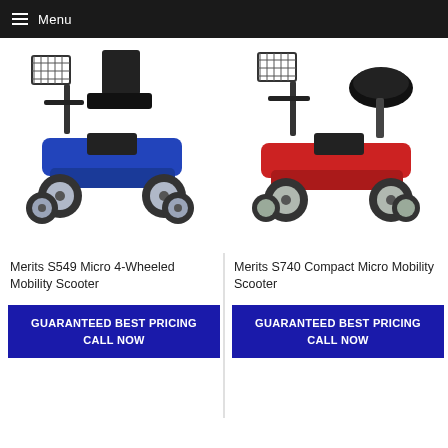≡ Menu
[Figure (photo): Blue Merits S549 Micro 4-Wheeled Mobility Scooter with basket]
Merits S549 Micro 4-Wheeled Mobility Scooter
GUARANTEED BEST PRICING
CALL NOW
[Figure (photo): Red Merits S740 Compact Micro Mobility Scooter with basket]
Merits S740 Compact Micro Mobility Scooter
GUARANTEED BEST PRICING
CALL NOW